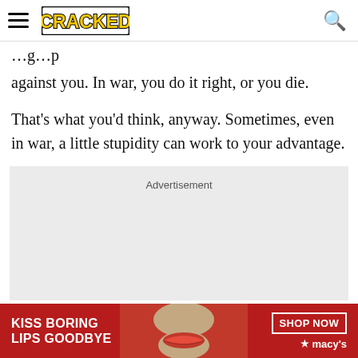CRACKED
against you. In war, you do it right, or you die.
That's what you'd think, anyway. Sometimes, even in war, a little stupidity can work to your advantage.
[Figure (other): Advertisement placeholder box with light gray background]
[Figure (other): Macy's banner advertisement: KISS BORING LIPS GOODBYE, SHOP NOW, with woman's face and red lips]